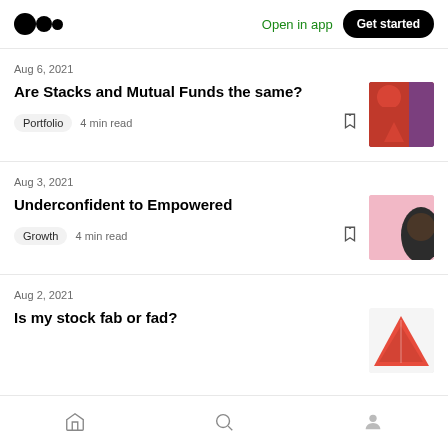Open in app · Get started
Aug 6, 2021
Are Stacks and Mutual Funds the same?
Portfolio  4 min read
[Figure (photo): Spiderman meme thumbnail]
Aug 3, 2021
Underconfident to Empowered
Growth  4 min read
[Figure (photo): Pink background with dark hair thumbnail]
Aug 2, 2021
Is my stock fab or fad?
[Figure (photo): Red triangle/pyramid thumbnail]